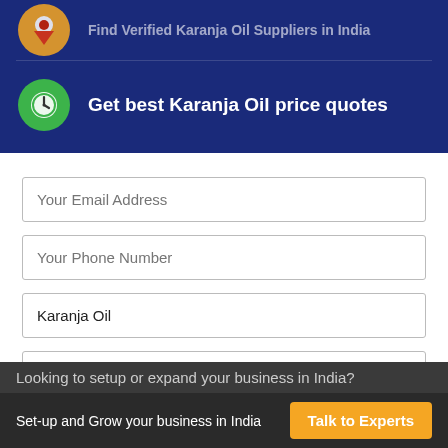[Figure (infographic): Orange circle icon with location pin and text 'Find Verified Karanja Oil Suppliers in India' on dark blue background - partially visible at top]
Get best Karanja Oil price quotes
Your Email Address
Your Phone Number
Karanja Oil
India
Enter your requirement
Looking to setup or expand your business in India?
Set-up and Grow your business in India
Talk to Experts